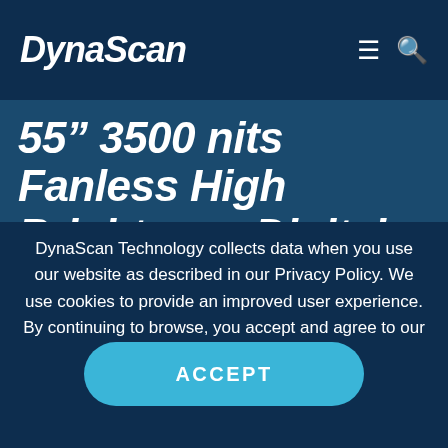DynaScan
55” 3500 nits Fanless High Brightness Digital Signage
DynaScan Technology collects data when you use our website as described in our Privacy Policy. We use cookies to provide an improved user experience. By continuing to browse, you accept and agree to our privacy policy.
ACCEPT